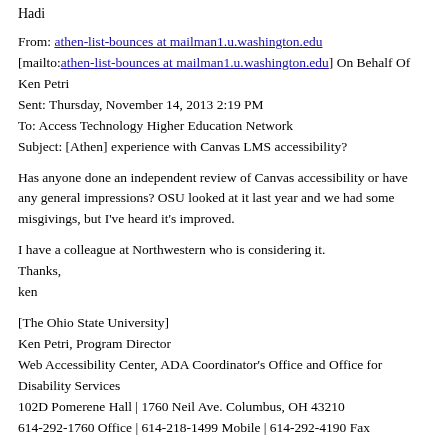Hadi
From: athen-list-bounces at mailman1.u.washington.edu [mailto:athen-list-bounces at mailman1.u.washington.edu] On Behalf Of Ken Petri
Sent: Thursday, November 14, 2013 2:19 PM
To: Access Technology Higher Education Network
Subject: [Athen] experience with Canvas LMS accessibility?
Has anyone done an independent review of Canvas accessibility or have any general impressions? OSU looked at it last year and we had some misgivings, but I've heard it's improved.
I have a colleague at Northwestern who is considering it.
Thanks,
ken
[The Ohio State University]
Ken Petri, Program Director
Web Accessibility Center, ADA Coordinator's Office and Office for Disability Services
102D Pomerene Hall | 1760 Neil Ave. Columbus, OH 43210
614-292-1760 Office | 614-218-1499 Mobile | 614-292-4190 Fax